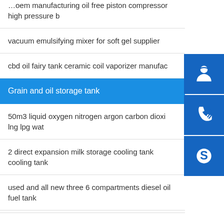…oem manufacturing oil free piston compressor high pressure b
vacuum emulsifying mixer for soft gel supplier
cbd oil fairy tank ceramic coil vaporizer manufac…
Grain and oil storage tank
50m3 liquid oxygen nitrogen argon carbon dioxi… lng lpg wat
2 direct expansion milk storage cooling tank cooling tank
used and all new three 6 compartments diesel oil fuel tank